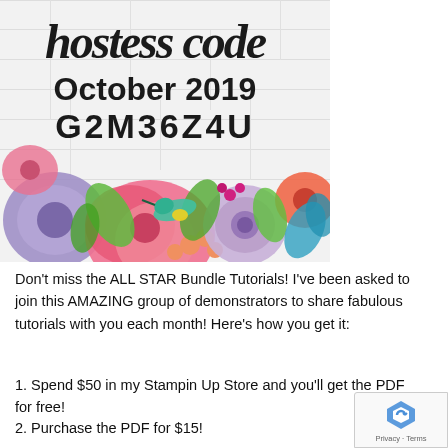[Figure (illustration): Decorative image with wood plank background showing 'hostess code' in stylized italic font, 'October 2019' and 'G2M36Z4U' in bold, with colorful watercolor flowers at the bottom]
Don't miss the ALL STAR Bundle Tutorials!  I've been asked to join this AMAZING group of demonstrators to share fabulous tutorials with you each month!  Here's how you get it:
1. Spend $50 in my Stampin Up Store and you'll get the PDF for free!
2. Purchase the PDF for $15!